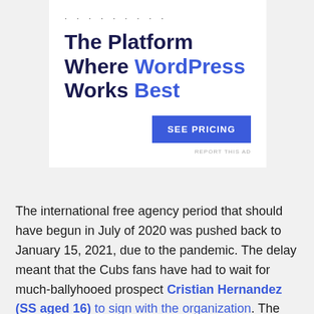[Figure (screenshot): Advertisement banner with dots decoration, headline 'The Platform Where WordPress Works Best', and a 'SEE PRICING' button. Bottom right shows 'REPORT THIS AD' in small text.]
The international free agency period that should have begun in July of 2020 was pushed back to January 15, 2021, due to the pandemic. The delay meant that the Cubs fans have had to wait for much-ballyhooed prospect Cristian Hernandez (SS aged 16) to sign with the organization. The hype train is intense around Hernandez. Comps range from Manny Machado to Javier Baez to Alex Rodriguez (who has